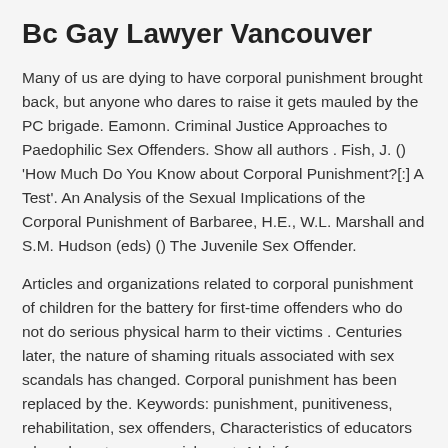Bc Gay Lawyer Vancouver
Many of us are dying to have corporal punishment brought back, but anyone who dares to raise it gets mauled by the PC brigade. Eamonn. Criminal Justice Approaches to Paedophilic Sex Offenders. Show all authors . Fish, J. () 'How Much Do You Know about Corporal Punishment?[:] A Test'. An Analysis of the Sexual Implications of the Corporal Punishment of Barbaree, H.E., W.L. Marshall and S.M. Hudson (eds) () The Juvenile Sex Offender.
Articles and organizations related to corporal punishment of children for the battery for first-time offenders who do not do serious physical harm to their victims . Centuries later, the nature of shaming rituals associated with sex scandals has changed. Corporal punishment has been replaced by the. Keywords: punishment, punitiveness, rehabilitation, sex offenders, Characteristics of educators who advocate corp punishment: A brief.